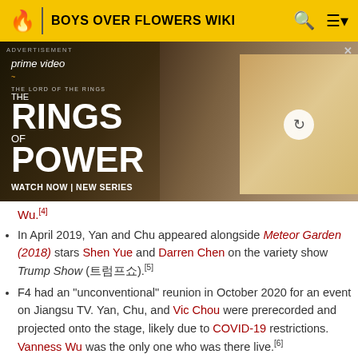BOYS OVER FLOWERS WIKI
[Figure (photo): Amazon Prime Video advertisement for The Lord of the Rings: The Rings of Power. Shows a hooded stone-like creature figure on the left, and a blonde woman with others in the right panel. Text reads: ADVERTISEMENT, prime video, THE LORD OF THE RINGS THE RINGS OF POWER, WATCH NOW | NEW SERIES]
Wu.[4]
In April 2019, Yan and Chu appeared alongside Meteor Garden (2018) stars Shen Yue and Darren Chen on the variety show Trump Show (트럼프쇼).[5]
F4 had an "unconventional" reunion in October 2020 for an event on Jiangsu TV. Yan, Chu, and Vic Chou were prerecorded and projected onto the stage, likely due to COVID-19 restrictions. Vanness Wu was the only one who was there live.[6]